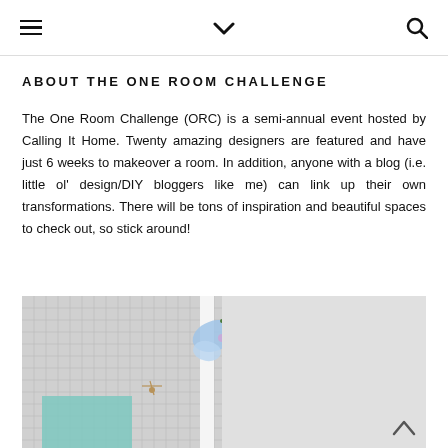≡  ⌄  🔍
ABOUT THE ONE ROOM CHALLENGE
The One Room Challenge (ORC) is a semi-annual event hosted by Calling It Home. Twenty amazing designers are featured and have just 6 weeks to makeover a room. In addition, anyone with a blog (i.e. little ol' design/DIY bloggers like me) can link up their own transformations. There will be tons of inspiration and beautiful spaces to check out, so stick around!
[Figure (photo): A room decoration photo showing a grid/mesh board on a wall with a colorful butterfly decoration, a small dragonfly ornament, a teal paper, and a circular hoop, with a scroll-up arrow in the bottom right corner.]